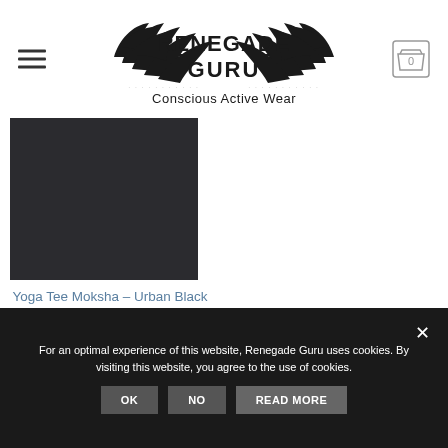[Figure (logo): Renegade Guru logo with wings and text 'Conscious Active Wear']
[Figure (photo): Black yoga tee product image - solid dark square]
Yoga Tee Moksha – Urban Black
€ 44,95
For an optimal experience of this website, Renegade Guru uses cookies. By visiting this website, you agree to the use of cookies.
OK  NO  READ MORE